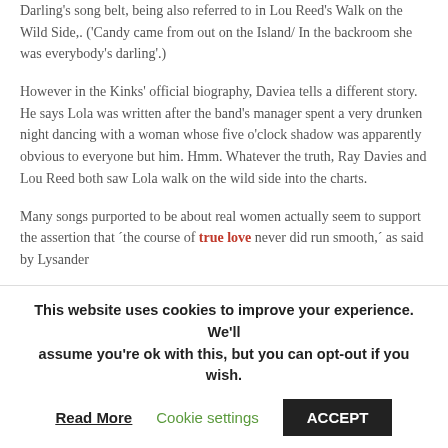Darling's song belt, being also referred to in Lou Reed's Walk on the Wild Side,. ('Candy came from out on the Island/ In the backroom she was everybody's darling'.)
However in the Kinks' official biography, Daviea tells a different story. He says Lola was written after the band's manager spent a very drunken night dancing with a woman whose five o'clock shadow was apparently obvious to everyone but him. Hmm. Whatever the truth, Ray Davies and Lou Reed both saw Lola walk on the wild side into the charts.
Many songs purported to be about real women actually seem to support the assertion that ´the course of true love never did run smooth,´ as said by Lysander
This website uses cookies to improve your experience. We'll assume you're ok with this, but you can opt-out if you wish.
Read More | Cookie settings | ACCEPT